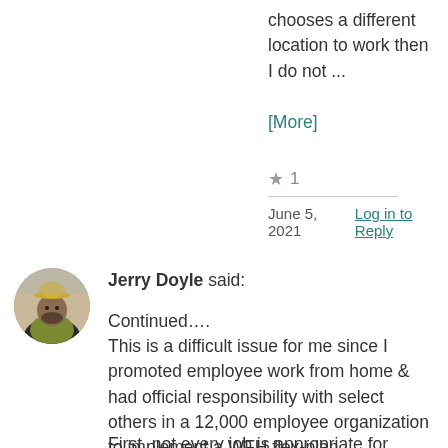chooses a different location to work then I do not ...
[More]
★ 1
June 5, 2021 Log in to Reply
[Figure (photo): Circular avatar photo of Jerry Doyle, a person with a beard wearing a hat, outdoor setting background]
Jerry Doyle said:
Continued…. This is a difficult issue for me since I promoted employee work from home & had official responsibility with select others in a 12,000 employee organization to implement a WFH flex-plan.
First, not every job is appropriate for